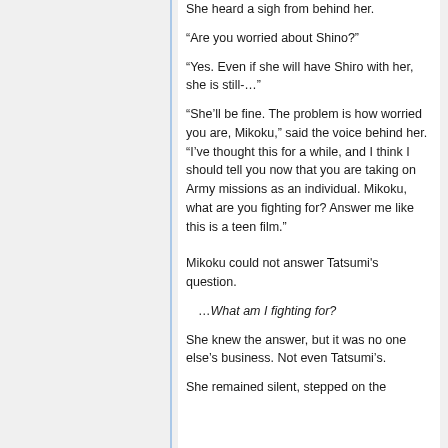She heard a sigh from behind her.
“Are you worried about Shino?”
“Yes. Even if she will have Shiro with her, she is still-…”
“She’ll be fine. The problem is how worried you are, Mikoku,” said the voice behind her. “I’ve thought this for a while, and I think I should tell you now that you are taking on Army missions as an individual. Mikoku, what are you fighting for? Answer me like this is a teen film.”
Mikoku could not answer Tatsumi's question.
…What am I fighting for?
She knew the answer, but it was no one else’s business. Not even Tatsumi’s.
She remained silent, stepped on the